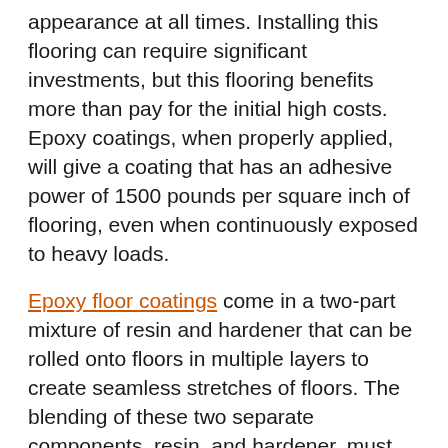appearance at all times. Installing this flooring can require significant investments, but this flooring benefits more than pay for the initial high costs. Epoxy coatings, when properly applied, will give a coating that has an adhesive power of 1500 pounds per square inch of flooring, even when continuously exposed to heavy loads.
Epoxy floor coatings come in a two-part mixture of resin and hardener that can be rolled onto floors in multiple layers to create seamless stretches of floors. The blending of these two separate components, resin, and hardener, must be done carefully. We then apply the blended product to the floor before it hardens. You can also get epoxy floor coatings that are metallic or pre-tinted.
Want more information? Take a look around our website for some beautiful examples. You can pick and choose your colors and design. Call us at (713)